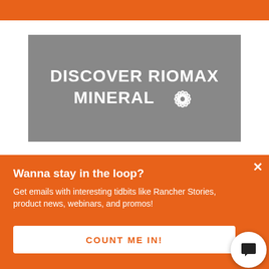[Figure (other): Orange bar at top of page]
[Figure (logo): Gray banner with text DISCOVER RIOMAX MINERAL and atom icon in white bold text]
Wanna stay in the loop?
Get emails with interesting tidbits like Rancher Stories, product news, webinars, and promos!
COUNT ME IN!